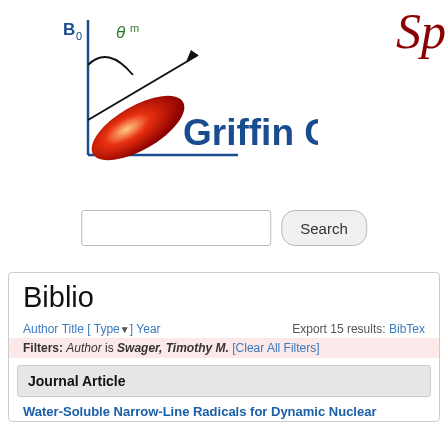[Figure (logo): Griffin Group lab logo: a coordinate axis with a red elongated ellipse/crystal shape, a curved arrow labeled theta_m, and B0 label on the y-axis, next to text 'Griffin Group' in dark blue bold font.]
Sp
[Figure (screenshot): Search input box and Search button]
Biblio
Author Title [ Type ] Year   Export 15 results: BibTex
Filters: Author is Swager, Timothy M. [Clear All Filters]
Journal Article
Water-Soluble Narrow-Line Radicals for Dynamic Nuclear